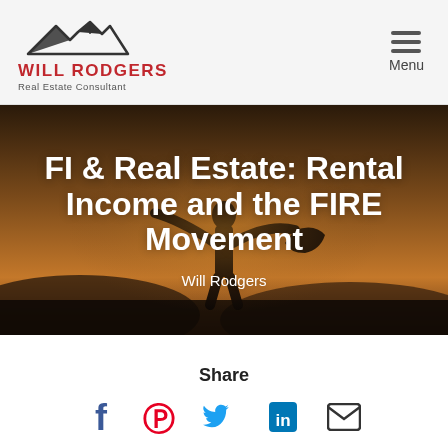[Figure (logo): Will Rodgers Real Estate Consultant logo with mountain/house silhouette icon, red text 'WILL RODGERS', and subtitle 'Real Estate Consultant']
[Figure (other): Hamburger menu icon with three horizontal lines and 'Menu' label below]
[Figure (photo): Hero background photo of a person with arms outstretched at sunset/dusk on a hilltop, warm golden tones with dark silhouette]
FI & Real Estate: Rental Income and the FIRE Movement
Will Rodgers
Share
[Figure (infographic): Social sharing icons: Facebook (f, blue), Pinterest (P, red), Twitter (bird, blue), LinkedIn (in, blue), Email (envelope, black)]